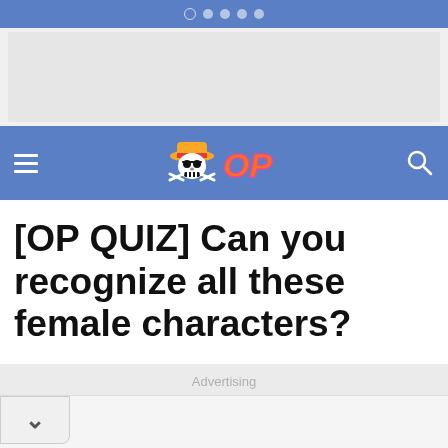Navigation dots and status bar
[Figure (screenshot): Ad banner placeholder - gray rectangle]
[Figure (logo): One Piece Quiz site navigation bar with skull logo and OP text in orange/pink gradient]
[OP QUIZ] Can you recognize all these female characters?
Advertising
[Figure (other): Collapsed/dropdown section with chevron down arrow button]